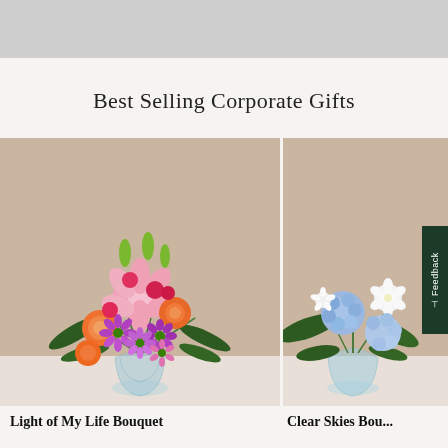Best Selling Corporate Gifts
[Figure (photo): Colorful flower bouquet in a glass vase featuring pink lilies, orange roses, purple daisies, red carnations and green leaves against a beige background]
[Figure (photo): Blue hydrangea and white flower bouquet in a glass vase against a beige background, partially cropped, with a dark green Feedback tab overlay on the right side]
Light of My Life Bouquet
Clear Skies Bou...